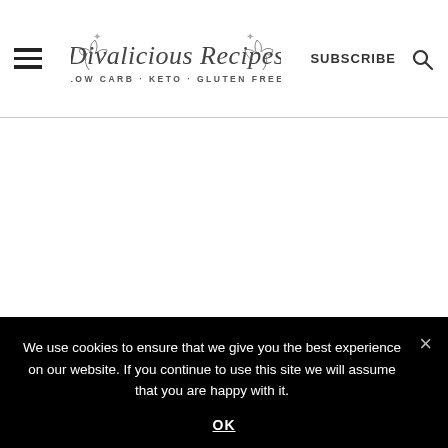Divalicious Recipes | LOW CARB - KETO - GLUTEN FREE | SUBSCRIBE
CARBS IN
We use cookies to ensure that we give you the best experience on our website. If you continue to use this site we will assume that you are happy with it.
OK